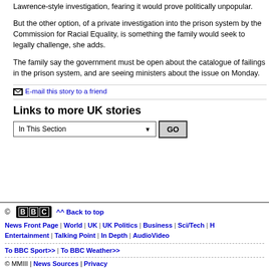Lawrence-style investigation, fearing it would prove politically unpopular.
But the other option, of a private investigation into the prison system by the Commission for Racial Equality, is something the family would seek to legally challenge, she adds.
The family say the government must be open about the catalogue of failings in the prison system, and are seeing ministers about the issue on Monday.
E-mail this story to a friend
Links to more UK stories
In This Section
© BBC | ^^ Back to top | News Front Page | World | UK | UK Politics | Business | Sci/Tech | H Entertainment | Talking Point | In Depth | AudioVideo | To BBC Sport>> | To BBC Weather>> | © MMIII | News Sources | Privacy